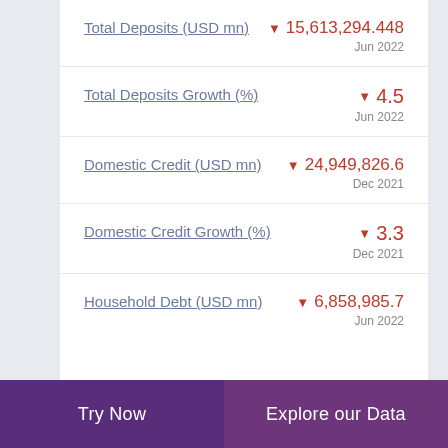Total Deposits (USD mn) ▼ 15,613,294.448 Jun 2022
Total Deposits Growth (%) ▼ 4.5 Jun 2022
Domestic Credit (USD mn) ▼ 24,949,826.6 Dec 2021
Domestic Credit Growth (%) ▼ 3.3 Dec 2021
Household Debt (USD mn) ▼ 6,858,985.7 Jun 2022
Try Now   Explore our Data